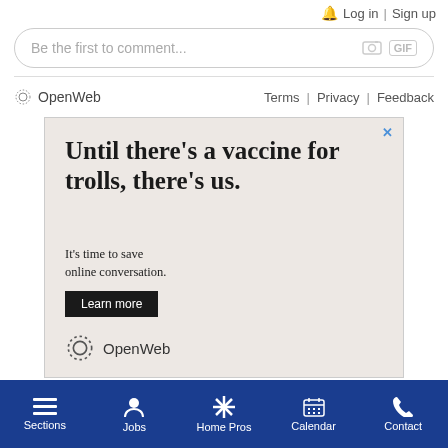Log in | Sign up
Be the first to comment...
OpenWeb   Terms | Privacy | Feedback
[Figure (screenshot): OpenWeb advertisement: 'Until there's a vaccine for trolls, there's us. It's time to save online conversation. Learn more' with OpenWeb logo on beige background.]
Sections | Jobs | Home Pros | Calendar | Contact